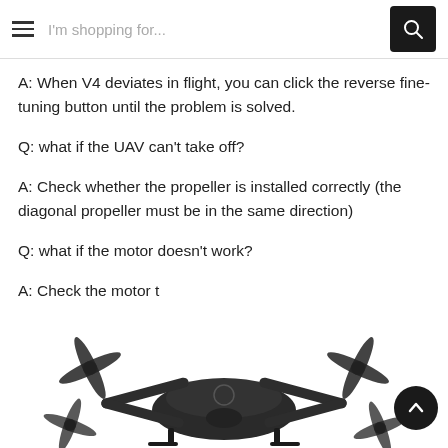I'm shopping for...
A: When V4 deviates in flight, you can click the reverse fine-tuning button until the problem is solved.
Q: what if the UAV can't take off?
A: Check whether the propeller is installed correctly (the diagonal propeller must be in the same direction)
Q: what if the motor doesn't work?
A: Check the motor t
[Figure (photo): A dark grey foldable drone (UAV) photographed from above-front angle, showing propellers and body.]